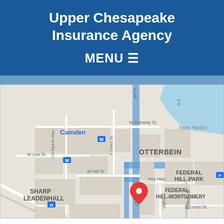Upper Chesapeake Insurance Agency
MENU ≡
[Figure (map): Google Maps view of Baltimore area showing Federal Hill, Otterbein, Sharp Leadenhall neighborhoods with a red location pin marker and blue route overlay near Charles St and Key Hwy. Inner Harbor visible to the upper right. Streets include W Conway St, W Lee St, W Hill St, Cal Ripken Way, S Sharp St, Light St, Charles St, Key Hwy. Labels: Camden, OTTERBEIN, FEDERAL HILL-PARK, FEDERAL HILL-MONTGOMERY, SHARP LEADENHALL.]